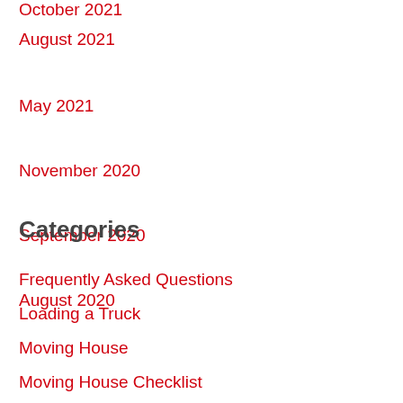October 2021
August 2021
May 2021
November 2020
September 2020
August 2020
Categories
Frequently Asked Questions
Loading a Truck
Moving House
Moving House Checklist
Packing Tips
Tips